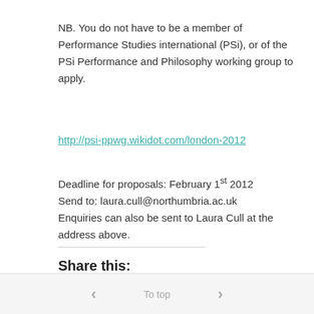NB. You do not have to be a member of Performance Studies international (PSi), or of the PSi Performance and Philosophy working group to apply.
http://psi-ppwg.wikidot.com/london-2012
Deadline for proposals: February 1st 2012
Send to: laura.cull@northumbria.ac.uk
Enquiries can also be sent to Laura Cull at the address above.
Share this:
[Figure (other): Twitter and Facebook share icon buttons (circular blue icons)]
‹   To top   ›